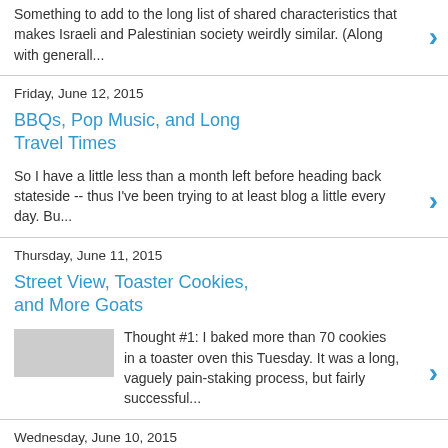Something to add to the long list of shared characteristics that makes Israeli and Palestinian society weirdly similar. (Along with generall...
Friday, June 12, 2015
BBQs, Pop Music, and Long Travel Times
So I have a little less than a month left before heading back stateside -- thus I've been trying to at least blog a little every day. Bu...
Thursday, June 11, 2015
Street View, Toaster Cookies, and More Goats
Thought #1: I baked more than 70 cookies in a toaster oven this Tuesday. It was a long, vaguely pain-staking process, but fairly successful...
Wednesday, June 10, 2015
Coffee, a Wonderful Snack